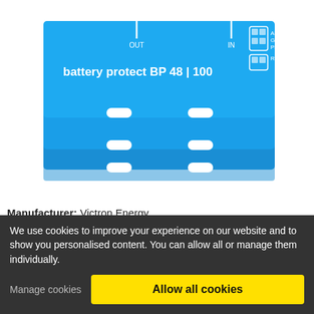[Figure (photo): Blue Victron Energy battery protect BP 48|100 device, showing stacked blue rectangular unit with white text labels: OUT, IN, ALARM, GND, PROG, REMOTE, and the product name 'battery protect BP 48 | 100']
Manufacturer: Victron Energy
Art.#: VE-BP-48-100
Price without VAT:   125.09$
We use cookies to improve your experience on our website and to show you personalised content. You can allow all or manage them individually.
Manage cookies
Allow all cookies